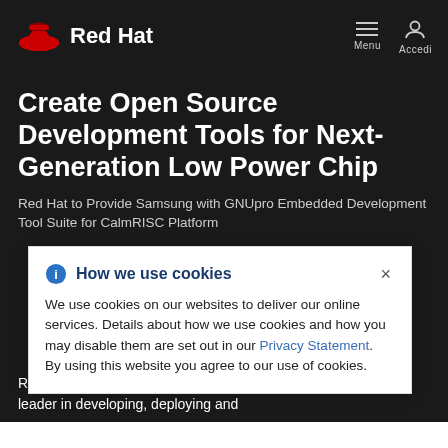Red Hat | Menu | Accedi
Create Open Source Development Tools for Next-Generation Low Power Chip
Red Hat to Provide Samsung with GNUpro Embedded Development Tool Suite for CalmRISC Platform
How we use cookies
We use cookies on our websites to deliver our online services. Details about how we use cookies and how you may disable them are set out in our Privacy Statement. By using this website you agree to our use of cookies.
R... Hat, Inc. (Nasdaq:RHAT), the leader in developing, deploying and